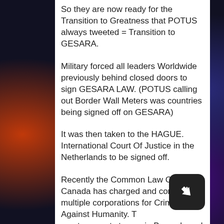So they are now ready for the Transition to Greatness that POTUS always tweeted = Transition to GESARA.
Military forced all leaders Worldwide previously behind closed doors to sign GESARA LAW. (POTUS calling out Border Wall Meters was countries being signed off on GESARA)
It was then taken to the HAGUE. International Court Of Justice in the Netherlands to be signed off.
Recently the Common Law Court in Canada has charged and convicted multiple corporations for Crimes Against Humanity. This court connects to one in Brussels and also THE